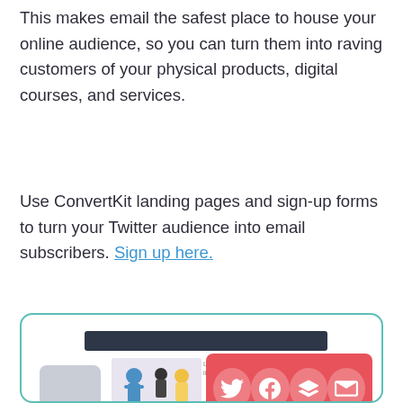This makes email the safest place to house your online audience, so you can turn them into raving customers of your physical products, digital courses, and services.
Use ConvertKit landing pages and sign-up forms to turn your Twitter audience into email subscribers. Sign up here.
[Figure (screenshot): A card with rounded teal border showing a social media sharing interface with a dark navigation bar, a phone mockup, a center image with illustrated figures, a text snippet, and a red social sharing bar with Twitter, Facebook, layers/buffer, and email icons.]